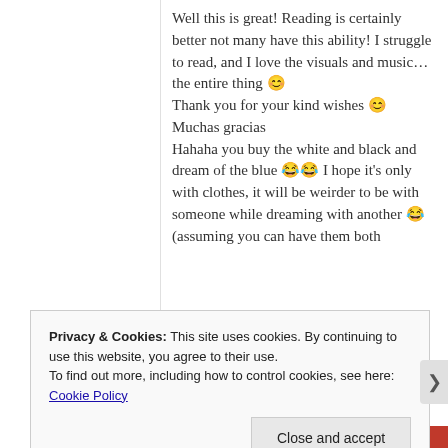Well this is great! Reading is certainly better not many have this ability! I struggle to read, and I love the visuals and music… the entire thing 😊 Thank you for your kind wishes 😊 Muchas gracias Hahaha you buy the white and black and dream of the blue 😂😂 I hope it's only with clothes, it will be weirder to be with someone while dreaming with another 😂 (assuming you can have them both
Privacy & Cookies: This site uses cookies. By continuing to use this website, you agree to their use.
To find out more, including how to control cookies, see here: Cookie Policy
Close and accept